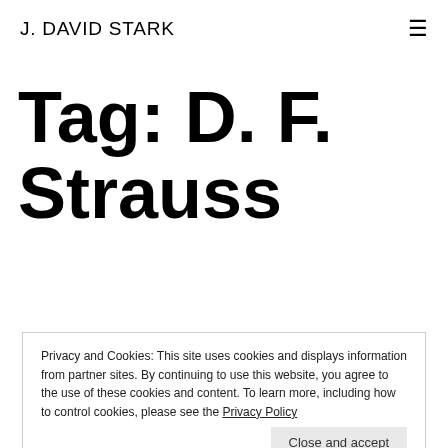J. DAVID STARK
Tag: D. F. Strauss
Privacy and Cookies: This site uses cookies and displays information from partner sites. By continuing to use this website, you agree to the use of these cookies and content. To learn more, including how to control cookies, please see the Privacy Policy
Close and accept